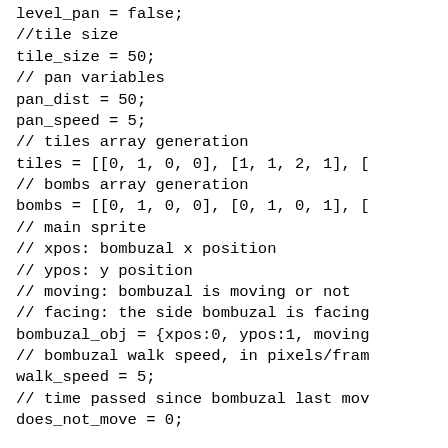level_pan = false;
//tile size
tile_size = 50;
// pan variables
pan_dist = 50;
pan_speed = 5;
// tiles array generation
tiles = [[0, 1, 0, 0], [1, 1, 2, 1], [
// bombs array generation
bombs = [[0, 1, 0, 0], [0, 1, 0, 1], [
// main sprite
// xpos: bombuzal x position
// ypos: y position
// moving: bombuzal is moving or not
// facing: the side bombuzal is facing
bombuzal_obj = {xpos:0, ypos:1, moving
// bombuzal walk speed, in pixels/fram
walk_speed = 5;
// time passed since bombuzal last mov
does_not_move = 0;